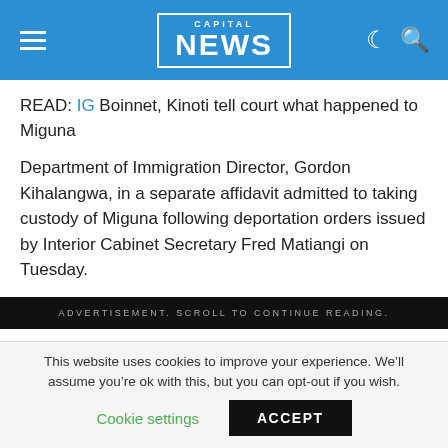CAPITAL NEWS
READ: IG Boinnet, Kinoti tell court what happened to Miguna
Department of Immigration Director, Gordon Kihalangwa, in a separate affidavit admitted to taking custody of Miguna following deportation orders issued by Interior Cabinet Secretary Fred Matiangi on Tuesday.
ADVERTISEMENT. SCROLL TO CONTINUE READING.
“The applicant (Miguna) was arrested within the precincts
This website uses cookies to improve your experience. We’ll assume you’re ok with this, but you can opt-out if you wish.